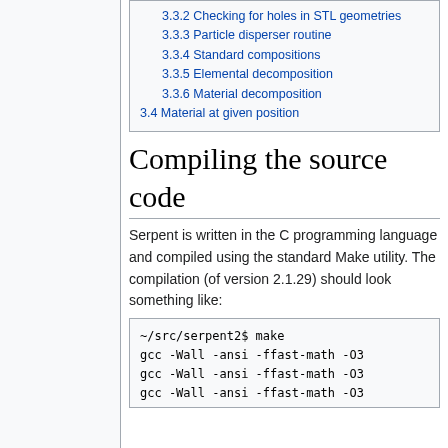3.3.2 Checking for holes in STL geometries
3.3.3 Particle disperser routine
3.3.4 Standard compositions
3.3.5 Elemental decomposition
3.3.6 Material decomposition
3.4 Material at given position
Compiling the source code
Serpent is written in the C programming language and compiled using the standard Make utility. The compilation (of version 2.1.29) should look something like:
~/src/serpent2$ make
gcc -Wall -ansi -ffast-math -O3
gcc -Wall -ansi -ffast-math -O3
gcc -Wall -ansi -ffast-math -O3